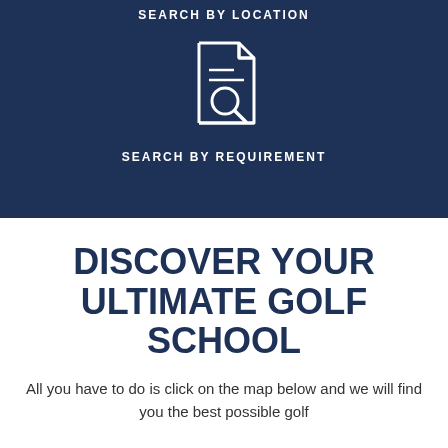SEARCH BY LOCATION
[Figure (illustration): White line icon of a document with a magnifying glass, representing search by requirement]
SEARCH BY REQUIREMENT
DISCOVER YOUR ULTIMATE GOLF SCHOOL
All you have to do is click on the map below and we will find you the best possible golf